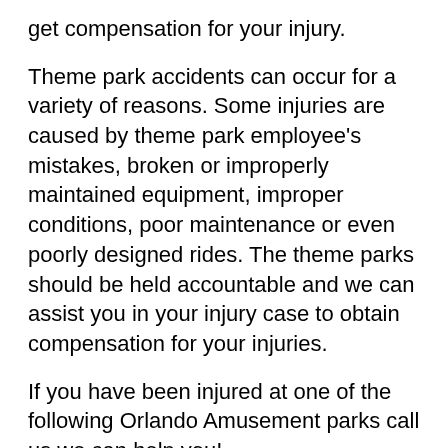get compensation for your injury.
Theme park accidents can occur for a variety of reasons. Some injuries are caused by theme park employee's mistakes, broken or improperly maintained equipment, improper conditions, poor maintenance or even poorly designed rides. The theme parks should be held accountable and we can assist you in your injury case to obtain compensation for your injuries.
If you have been injured at one of the following Orlando Amusement parks call us we can help you!
Walt Disney World Resort
Magic Kingdom